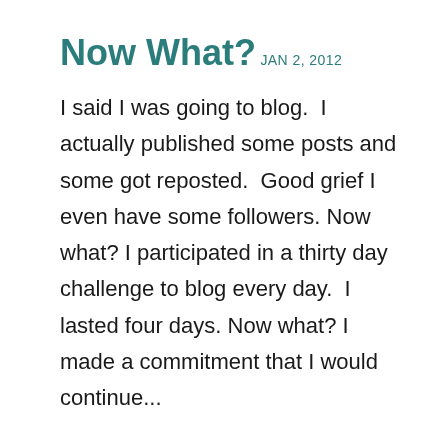Now What?
JAN 2, 2012
I said I was going to blog.  I actually published some posts and some got reposted.  Good grief I even have some followers. Now what? I participated in a thirty day challenge to blog every day.  I lasted four days. Now what? I made a commitment that I would continue...